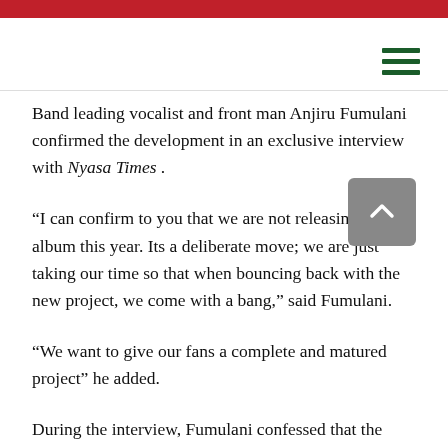Band leading vocalist and front man Anjiru Fumulani confirmed the development in an exclusive interview with Nyasa Times .
“I can confirm to you that we are not releasing an album this year. Its a deliberate move; we are just taking our time so that when bouncing back with the new project, we come with a bang,” said Fumulani.
“We want to give our fans a complete and matured project” he added.
During the interview, Fumulani confessed that the other reason is to pave way for their brother Anthony